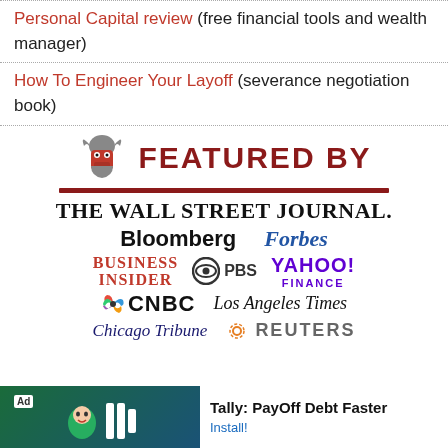Personal Capital review (free financial tools and wealth manager)
How To Engineer Your Layoff (severance negotiation book)
[Figure (infographic): Featured By section with samurai logo and media outlet logos: The Wall Street Journal, Bloomberg, Forbes, Business Insider, PBS, Yahoo Finance, CNBC, Los Angeles Times, Chicago Tribune, Reuters]
[Figure (other): Advertisement bar: Tally - PayOff Debt Faster app, with Install button]